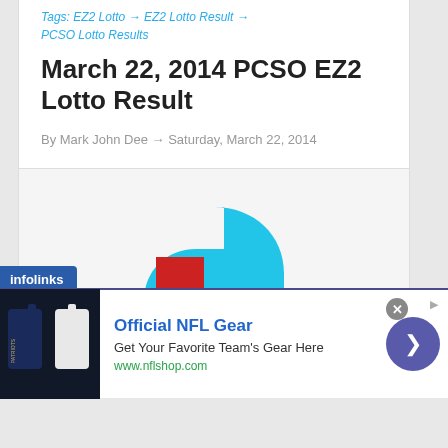Tags: EZ2 Lotto → EZ2 Lotto Result → PCSO Lotto Results
March 22, 2014 PCSO EZ2 Lotto Result
By Mark John Dee → Saturday, March 22, 2014
[Figure (logo): PCSO Six Digit Luzon logo — a large cyan numeral 6 with a red square and yellow circle, navy blue rectangle at bottom with text SIX DIGIT LUZON]
infolinks
[Figure (screenshot): Advertisement banner: Official NFL Gear — Get Your Favorite Team's Gear Here — www.nflshop.com, with NFL jersey image on left and navigation arrow on right]